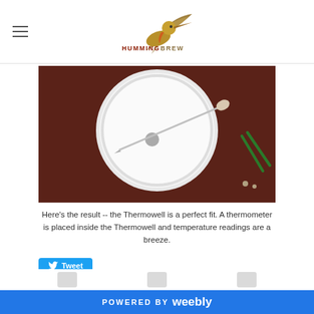HUMMINGBREW
[Figure (photo): A white circular bowl or bucket on a dark brown surface, with a thermowell probe inserted at an angle, and green wires visible at the right.]
Here's the result -- the Thermowell is a perfect fit. A thermometer is placed inside the Thermowell and temperature readings are a breeze.
Tweet
0 Comments
POWERED BY weebly